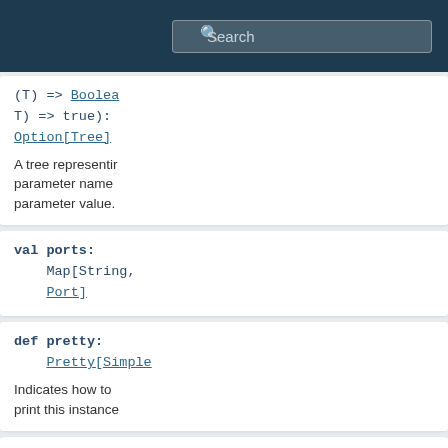Search
(T) => Boolean T) => true): Option[Tree]
A tree representing parameter name parameter value.
val ports: Map[String, Port]
def pretty: Pretty[Simple
Indicates how to print this instance
def prettyInfix[T U, V](first: (T) => U, infixOp: String, second: (T) = V)(implicit arg0: